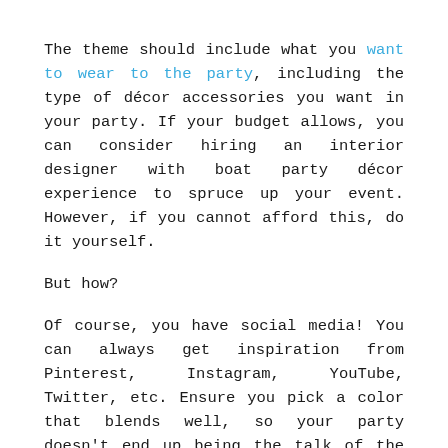The theme should include what you want to wear to the party, including the type of décor accessories you want in your party. If your budget allows, you can consider hiring an interior designer with boat party décor experience to spruce up your event. However, if you cannot afford this, do it yourself.
But how?
Of course, you have social media! You can always get inspiration from Pinterest, Instagram, YouTube, Twitter, etc. Ensure you pick a color that blends well, so your party doesn't end up being the talk of the town for the wrong reasons.
3. Make a Guest List
How many guests will you be inviting to your boat party? Write down their names and follow them up to ensure that